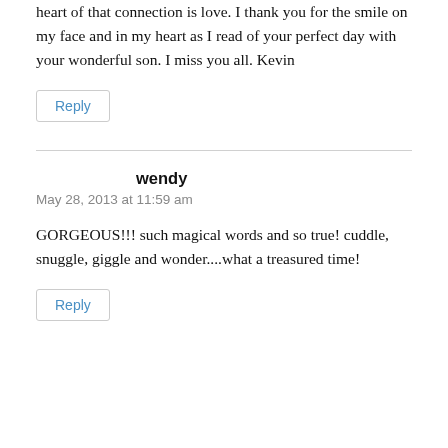heart of that connection is love. I thank you for the smile on my face and in my heart as I read of your perfect day with your wonderful son. I miss you all. Kevin
Reply
wendy
May 28, 2013 at 11:59 am
GORGEOUS!!! such magical words and so true! cuddle, snuggle, giggle and wonder....what a treasured time!
Reply